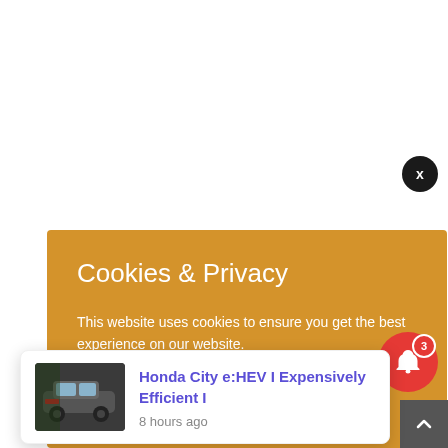[Figure (screenshot): Cookie and Privacy banner with golden/amber background showing title 'Cookies & Privacy' and body text about website cookie usage, with a close X button overlay]
Cookies & Privacy
This website uses cookies to ensure you get the best experience on our website.
See privacy policy
[Figure (screenshot): Notification popup card showing Honda City e:HEV thumbnail image on the left, with title 'Honda City e:HEV I Expensively Efficient I' in purple/blue and '8 hours ago' timestamp below]
Honda City e:HEV I Expensively Efficient I
8 hours ago